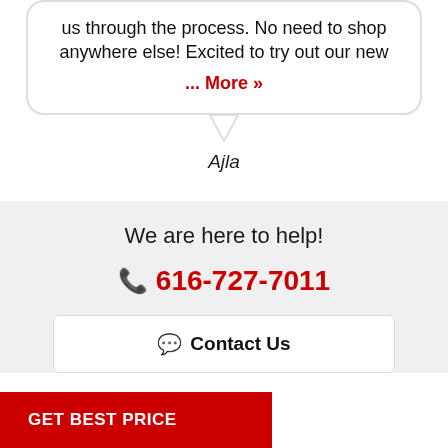us through the process. No need to shop anywhere else! Excited to try out our new ... More »
Ajla
We are here to help!
616-727-7011
Contact Us
GET BEST PRICE